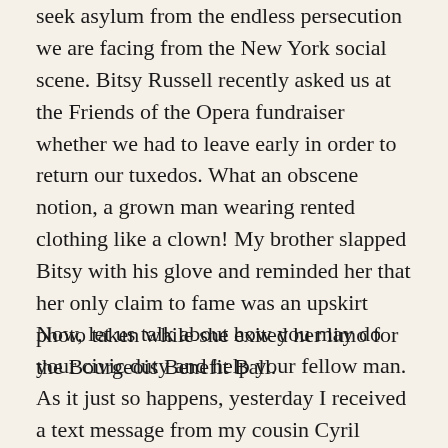seek asylum from the endless persecution we are facing from the New York social scene. Bitsy Russell recently asked us at the Friends of the Opera fundraiser whether we had to leave early in order to return our tuxedos. What an obscene notion, a grown man wearing rented clothing like a clown! My brother slapped Bitsy with his glove and reminded her that her only claim to fame was an upskirt photo taken while she exited her limo for the Bourgeois Benefit Ball.
Now, let us talk about how you may do your civic duty and help your fellow man. As it just so happens, yesterday I received a text message from my cousin Cyril saying that we have won the New York State lottery. I am looking for a kind soul to claim this